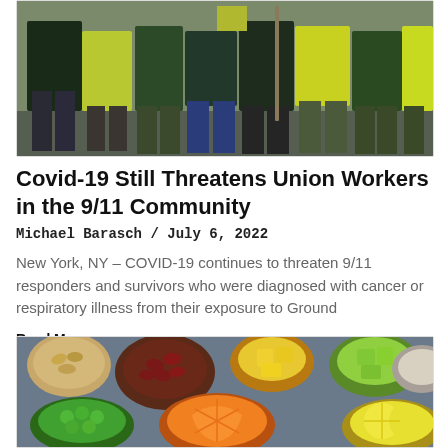[Figure (photo): Group of workers in green uniforms and high-visibility clothing standing together outdoors]
Covid-19 Still Threatens Union Workers in the 9/11 Community
Michael Barasch / July 6, 2022
New York, NY – COVID-19 continues to threaten 9/11 responders and survivors who were diagnosed with cancer or respiratory illness from their exposure to Ground
Read More »
[Figure (photo): Overhead view of various bowls containing colorful fruits, vegetables, and foods including beans, pineapple, orange, green melon, lemon, peas, and seeds]